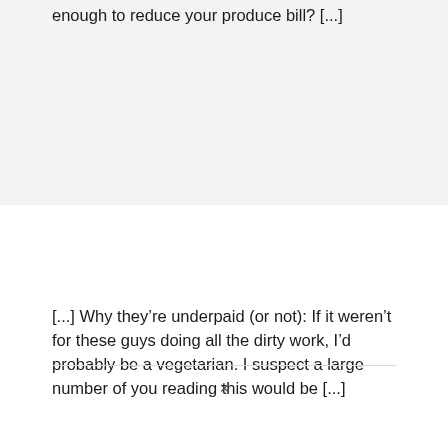enough to reduce your produce bill? [...]
[...] Why they’re underpaid (or not): If it weren’t for these guys doing all the dirty work, I’d probably be a vegetarian. I suspect a large number of you reading this would be [...]